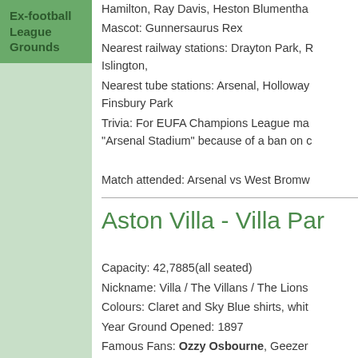Ex-football League Grounds
Hamilton, Ray Davis, Heston Blumenthal
Mascot: Gunnersaurus Rex
Nearest railway stations: Drayton Park, R... Islington,
Nearest tube stations: Arsenal, Holloway... Finsbury Park
Trivia: For EUFA Champions League ma... "Arsenal Stadium" because of a ban on c...
Match attended: Arsenal vs West Bromw...
Aston Villa - Villa Par...
Capacity: 42,7885(all seated)
Nickname: Villa / The Villans / The Lions
Colours: Claret and Sky Blue shirts, whit...
Year Ground Opened: 1897
Famous Fans: Ozzy Osbourne, Geezer... Kennedy
Mascot: Hercules Lion
Nearest railway stations: Aston, Whitton...
Trivia: Villa Park is the first football groun... football matches in three different centuri...
Match attended: Aston Villa...